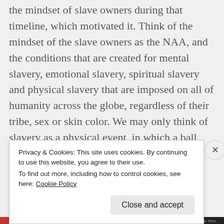consciousness, let's look at slavery in America and the mindset of slave owners during that timeline, which motivated it. Think of the mindset of the slave owners as the NAA, and the conditions that are created for mental slavery, emotional slavery, spiritual slavery and physical slavery that are imposed on all of humanity across the globe, regardless of their tribe, sex or skin color. We may only think of slavery as a physical event, in which a ball and chain or four walls have imprisoned the
Privacy & Cookies: This site uses cookies. By continuing to use this website, you agree to their use.
To find out more, including how to control cookies, see here: Cookie Policy
Close and accept